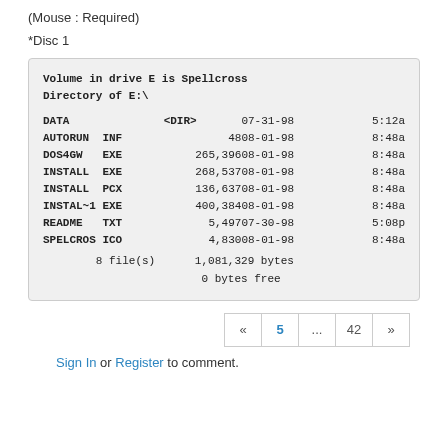(Mouse : Required)
*Disc 1
| Volume in drive E is Spellcross |  |  |  |
| Directory of E:\ |  |  |  |
| DATA | <DIR> | 07-31-98 | 5:12a |
| AUTORUN  INF | 48 | 08-01-98 | 8:48a |
| DOS4GW   EXE | 265,396 | 08-01-98 | 8:48a |
| INSTALL  EXE | 268,537 | 08-01-98 | 8:48a |
| INSTALL  PCX | 136,637 | 08-01-98 | 8:48a |
| INSTAL~1 EXE | 400,384 | 08-01-98 | 8:48a |
| README   TXT | 5,497 | 07-30-98 | 5:08p |
| SPELCROS ICO | 4,830 | 08-01-98 | 8:48a |
| 8 file(s) | 1,081,329 bytes |  |  |
|  | 0 bytes free |  |  |
« 5 ... 42 »
Sign In or Register to comment.